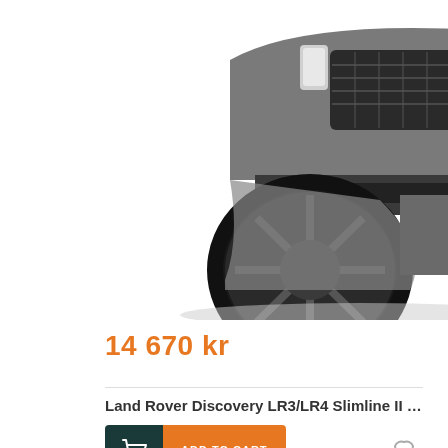[Figure (photo): Front quarter view of a Land Rover Discovery SUV (grey/silver), showing the grille, headlights, front bumper, wheel and tyre on white background]
14 670 kr
Land Rover Discovery LR3/LR4 Slimline II Roof R...
[Figure (other): Add to cart button with dark teal shopping cart icon square on left and orange 'ADD TO CART' text button on right, plus a heart/wishlist icon on the far right]
New!
[Figure (photo): Partial view of a Slimline II roof rack product (black aluminium crossbar and mounting feet) on white background]